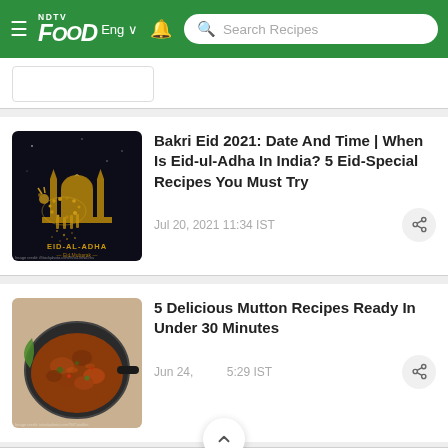NDTV Food — Eng | Search Recipes
[Figure (screenshot): Partial article card at top, cut off]
Bakri Eid 2021: Date And Time | When Is Eid-ul-Adha In India? 5 Eid-Special Recipes You Must Try
Jul 20, 2021 11:34 IST
5 Delicious Mutton Recipes Ready In Under 30 Minutes
Jun 24, [2021] 5:29 IST